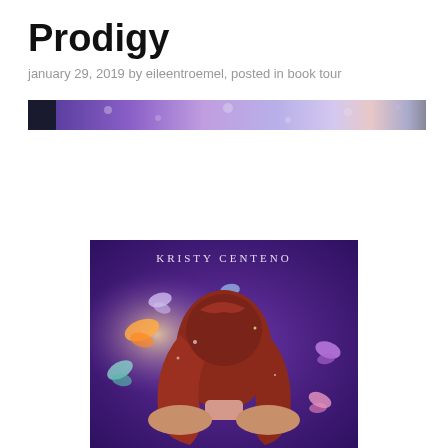Prodigy
january 29, 2019 by eileentroemel, posted in book tour
[Figure (photo): Horizontal banner image with purple/blue galaxy and bokeh background, partial book cover visible]
[Figure (photo): Book cover for 'Prodigy' by Kristy Centeno showing a girl with long red hair seen from behind, surrounded by colorful butterflies on a purple galaxy background]